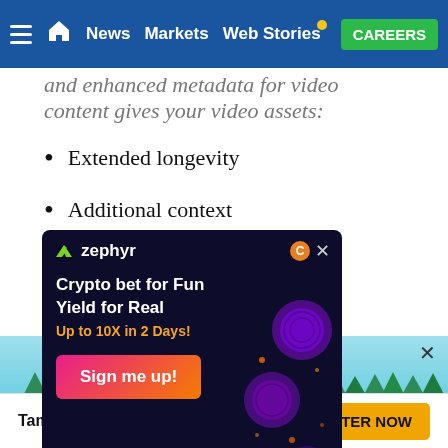News | Markets | Web Stories | CAREERS
and enhanced metadata for video content gives your video assets:
Extended longevity
Additional context
Increased relevancy
ical records for your content
duction on the Ethereum blockchain
d, and unique identifier for all your
[Figure (screenshot): Zephyr crypto advertisement overlay: dark background with logo, 'Crypto bet for Fun Yield for Real Up to 10X in 2 Days!' text, and 'Sign me up!' button]
[Figure (screenshot): Tamadoge 100k Giveaway banner with cyan/teal background, Tamadoge coin logo, pixel dog character, and 'ENTER NOW' button]